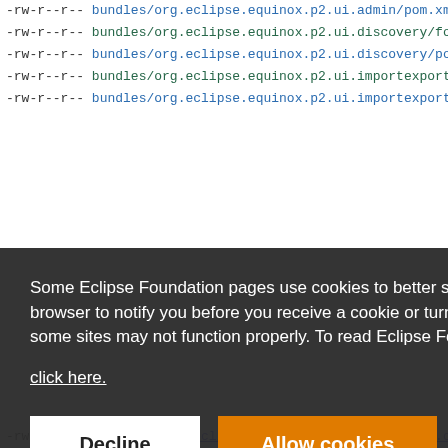-rw-r--r-- bundles/org.eclipse.equinox.p2.ui.admin/pom.xml
-rw-r--r-- bundles/org.eclipse.equinox.p2.ui.discovery/forceQualif...
-rw-r--r-- bundles/org.eclipse.equinox.p2.ui.discovery/pom.xml
-rw-r--r-- bundles/org.eclipse.equinox.p2.ui.importexport/forceQua...
-rw-r--r-- bundles/org.eclipse.equinox.p2.ui.importexport/pom.xml
Cookie consent overlay: Some Eclipse Foundation pages use cookies to better serve you when you return to the site. You can set your browser to notify you before you receive a cookie or turn off cookies. If you do so, however, some areas of some sites may not function properly. To read Eclipse Foundation Privacy Policy click here.
-rw-r--r-- examples/org.eclipse.equinox.p2.examples.rcp.cloud/fo...